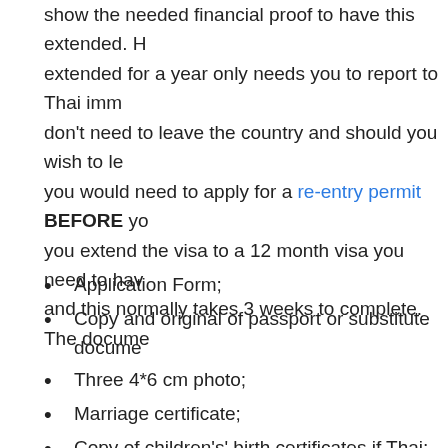show the needed financial proof to have this extended. Having it extended for a year only needs you to report to Thai imm don't need to leave the country and should you wish to le you would need to apply for a re-entry permit BEFORE yo you extend the visa to a 12 month visa you need to hav and this normally takes 3 weeks to complete. The docume
Application Form;
Copy and original of passport or substitute docume
Three 4*6 cm photo;
Marriage certificate;
Copy of children's' birth certificates if Thai;
Copy of your wife's Tabian Baan.
Copy of Wife's Thai national ID Card.
Copy of Bank Book showing 400,000 THB or
Copy of Bank Book showing an income of 40,000TH
Copy of map to your residence in Thailand;